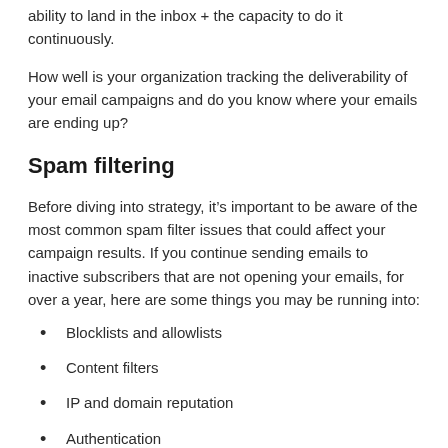ability to land in the inbox + the capacity to do it continuously.
How well is your organization tracking the deliverability of your email campaigns and do you know where your emails are ending up?
Spam filtering
Before diving into strategy, it’s important to be aware of the most common spam filter issues that could affect your campaign results. If you continue sending emails to inactive subscribers that are not opening your emails, for over a year, here are some things you may be running into:
Blocklists and allowlists
Content filters
IP and domain reputation
Authentication